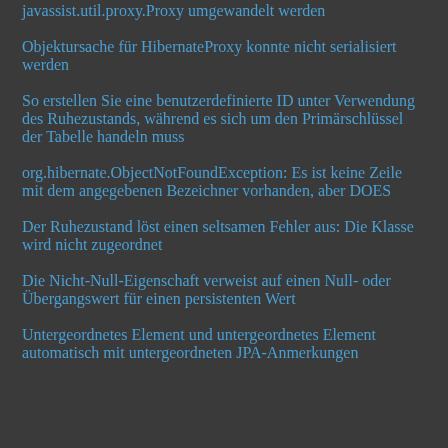javassist.util.proxy.Proxy umgewandelt werden
Objektursache für HibernateProxy konnte nicht serialisiert werden
So erstellen Sie eine benutzerdefinierte ID unter Verwendung des Ruhezustands, während es sich um den Primärschlüssel der Tabelle handeln muss
org.hibernate.ObjectNotFoundException: Es ist keine Zeile mit dem angegebenen Bezeichner vorhanden, aber DOES
Der Ruhezustand löst einen seltsamen Fehler aus: Die Klasse wird nicht zugeordnet
Die Nicht-Null-Eigenschaft verweist auf einen Null- oder Übergangswert für einen persistenten Wert
Untergeordnetes Element und untergeordnetes Element automatisch mit untergeordneten JPA-Anmerkungen